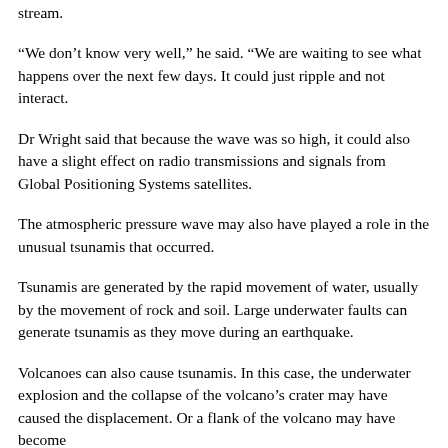stream.
“We don’t know very well,” he said. “We are waiting to see what happens over the next few days. It could just ripple and not interact.
Dr Wright said that because the wave was so high, it could also have a slight effect on radio transmissions and signals from Global Positioning Systems satellites.
The atmospheric pressure wave may also have played a role in the unusual tsunamis that occurred.
Tsunamis are generated by the rapid movement of water, usually by the movement of rock and soil. Large underwater faults can generate tsunamis as they move during an earthquake.
Volcanoes can also cause tsunamis. In this case, the underwater explosion and the collapse of the volcano’s crater may have caused the displacement. Or a flank of the volcano may have become